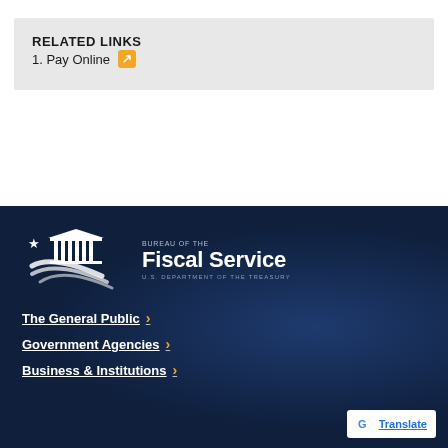RELATED LINKS
1. Pay Online
[Figure (logo): Bureau of the Fiscal Service, U.S. Department of the Treasury logo — white building/columns with swoosh lines and star on dark navy background]
The General Public
Government Agencies
Business & Institutions
[Figure (logo): Google Translate button with G logo]